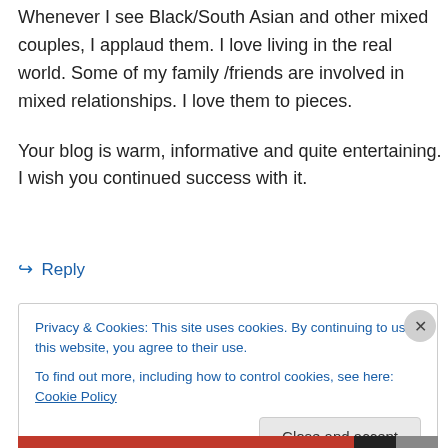Whenever I see Black/South Asian and other mixed couples, I applaud them. I love living in the real world. Some of my family /friends are involved in mixed relationships. I love them to pieces.
Your blog is warm, informative and quite entertaining. I wish you continued success with it.
↪ Reply
Privacy & Cookies: This site uses cookies. By continuing to use this website, you agree to their use. To find out more, including how to control cookies, see here: Cookie Policy
Close and accept